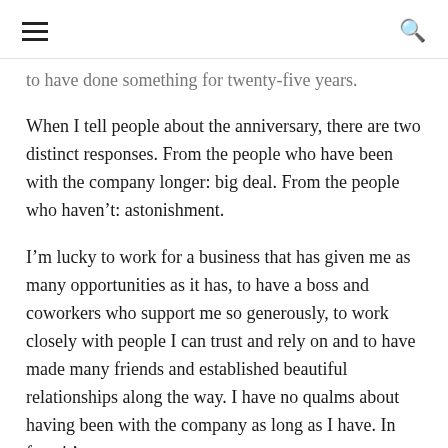≡  🔍
to have done something for twenty-five years.
When I tell people about the anniversary, there are two distinct responses. From the people who have been with the company longer: big deal. From the people who haven't: astonishment.
I'm lucky to work for a business that has given me as many opportunities as it has, to have a boss and coworkers who support me so generously, to work closely with people I can trust and rely on and to have made many friends and established beautiful relationships along the way. I have no qualms about having been with the company as long as I have. In fact, it's a testament to